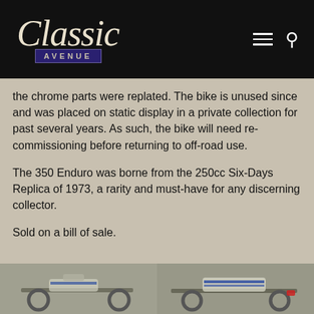Classic Avenue
the chrome parts were replated. The bike is unused since and was placed on static display in a private collection for past several years. As such, the bike will need re-commissioning before returning to off-road use.
The 350 Enduro was borne from the 250cc Six-Days Replica of 1973, a rarity and must-have for any discerning collector.
Sold on a bill of sale.
[Figure (photo): Two motorcycle photos side by side showing a white off-road enduro motorcycle from different angles]